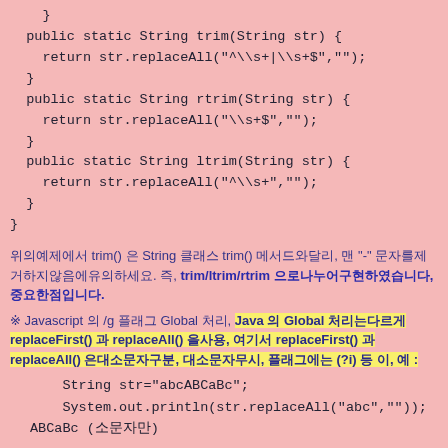}
  public static String trim(String str) {
    return str.replaceAll("^\\s+|\\s+$","");
  }
  public static String rtrim(String str) {
    return str.replaceAll("\\s+$","");
  }
  public static String ltrim(String str) {
    return str.replaceAll("^\\s+","");
  }
}
위의예제에서 trim() 은 String 클래스 trim() 메서드와달리, 맨 "-" 문자를제거하지않음에유의하세요. 즉, trim/ltrim/rtrim 으로나누어구현하였습니다, 중요한점입니다.
※ Javascript 의 /g 플래그 Global 처리, Java 의 Global 처리는다르게 replaceFirst() 과 replaceAll() 을사용, 여기서 replaceFirst() 과 replaceAll() 은대소문자구분, 대소문자무시, 플래그에는 (?i) 등 이, 예 :
String str="abcABCaBc";
    System.out.println(str.replaceAll("abc",""));               //결과 ABCaBc (소문자만)